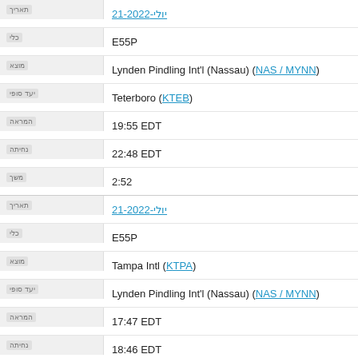| Field | Value |
| --- | --- |
| תאריך | 21-יולי-2022 |
| כלי | E55P |
| מוצא | Lynden Pindling Int'l (Nassau) (NAS / MYNN) |
| יעד סופי | Teterboro (KTEB) |
| המראה | 19:55 EDT |
| נחיתה | 22:48 EDT |
| משך | 2:52 |
| תאריך | 21-יולי-2022 |
| כלי | E55P |
| מוצא | Tampa Intl (KTPA) |
| יעד סופי | Lynden Pindling Int'l (Nassau) (NAS / MYNN) |
| המראה | 17:47 EDT |
| נחיתה | 18:46 EDT |
| משך | 0:58 |
| תאריך | 21-יולי-2022 |
| כלי | E55P |
| מוצא | Cincinnati Muni (KLUK) |
| יעד סופי | Tampa Intl (KTPA) |
| המראה | 14:20 EDT |
| נחיתה | 16:25 EDT |